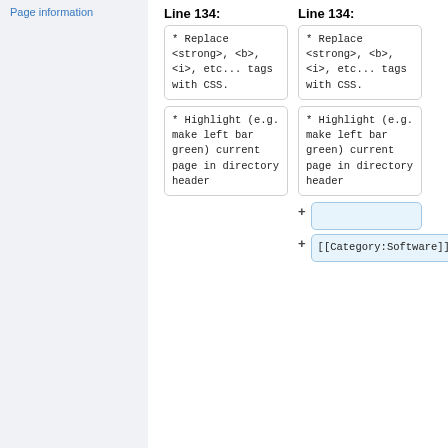Page information
Line 134:	 Line 134:
* Replace &lt;strong&gt;, &lt;b&gt;, &lt;i&gt;, etc... tags with CSS.
* Replace &lt;strong&gt;, &lt;b&gt;, &lt;i&gt;, etc... tags with CSS.
* Highlight (e.g. make left bar green) current page in directory header
* Highlight (e.g. make left bar green) current page in directory header
+ (empty added cell)
+ [[Category:Software]]